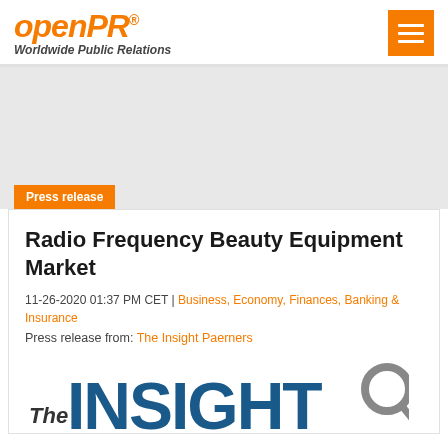openPR® Worldwide Public Relations
[Figure (logo): openPR logo with menu icon]
Press release
Radio Frequency Beauty Equipment Market
11-26-2020 01:37 PM CET | Business, Economy, Finances, Banking & Insurance
Press release from: The Insight Paerners
[Figure (logo): The Insight Partners logo partial view]